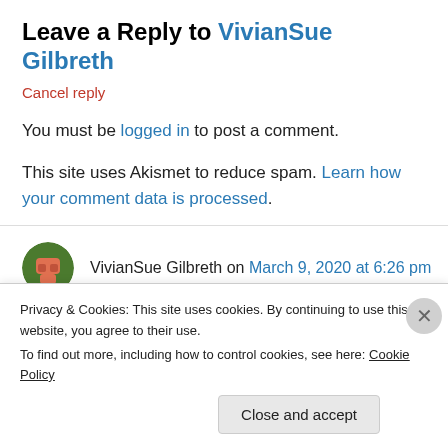Leave a Reply to VivianSue Gilbreth
Cancel reply
You must be logged in to post a comment.
This site uses Akismet to reduce spam. Learn how your comment data is processed.
VivianSue Gilbreth on March 9, 2020 at 6:26 pm
Dear cousin Myra, you have been a leader in the
Privacy & Cookies: This site uses cookies. By continuing to use this website, you agree to their use.
To find out more, including how to control cookies, see here: Cookie Policy
Close and accept